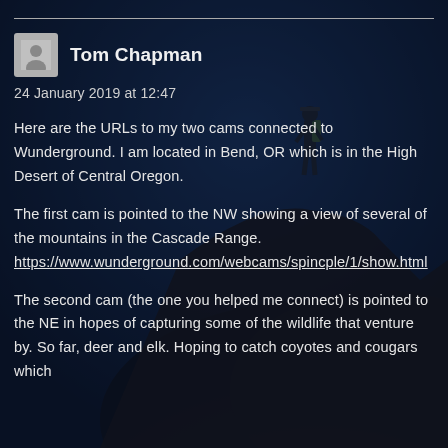[Figure (photo): Dark background photo of a hiker/mountaineer standing on a rocky ridge against a deep blue night-sky backdrop]
Tom Chapman
24 January 2019 at 12:47
Here are the URLs to my two cams connected to Wunderground. I am located in Bend, OR which is in the High Desert of Central Oregon.
The first cam is pointed to the NW showing a view of several of the mountains in the Cascade Range.
https://www.wunderground.com/webcams/spincple/1/show.html
The second cam (the one you helped me connect) is pointed to the NE in hopes of capturing some of the wildlife that venture by. So far, deer and elk. Hoping to catch coyotes and cougars which